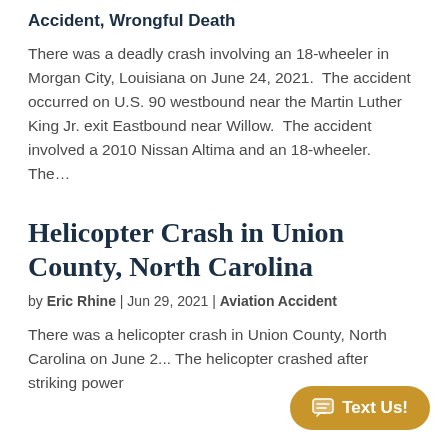Accident, Wrongful Death
There was a deadly crash involving an 18-wheeler in Morgan City, Louisiana on June 24, 2021.  The accident occurred on U.S. 90 westbound near the Martin Luther King Jr. exit Eastbound near Willow.  The accident involved a 2010 Nissan Altima and an 18-wheeler.  The…
Helicopter Crash in Union County, North Carolina
by Eric Rhine | Jun 29, 2021 | Aviation Accident
There was a helicopter crash in Union County, North Carolina on June 2... The helicopter crashed after striking power...